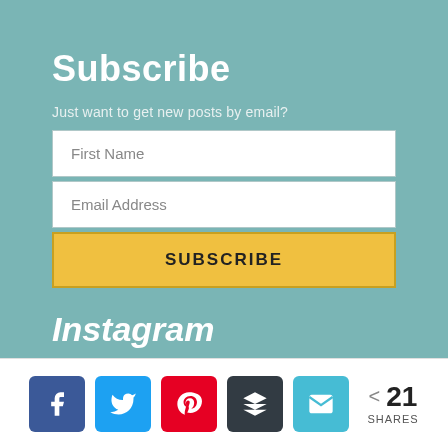Subscribe
Just want to get new posts by email?
[Figure (screenshot): Email subscription form with First Name field, Email Address field, and a yellow SUBSCRIBE button]
Instagram
[Figure (infographic): Social share bar with Facebook, Twitter, Pinterest, Buffer, Email buttons and 21 SHARES count]